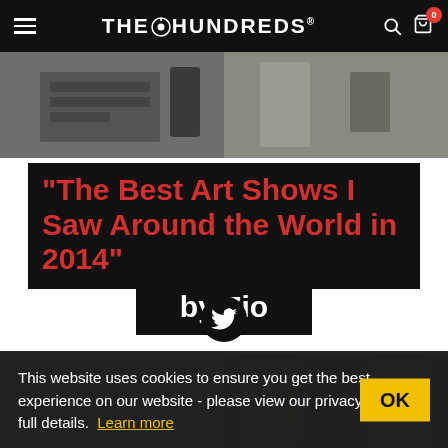THE HUNDREDS
[Figure (photo): Top photo showing people, partially cropped]
“The Best Art Shows I Saw Around the World in 2014” by Zio
[Figure (logo): Twitter bird icon in black circle]
[Figure (photo): Bottom photo showing art exhibition]
This website uses cookies to ensure you get the best experience on our website - please view our privacy policy for full details. Learn more